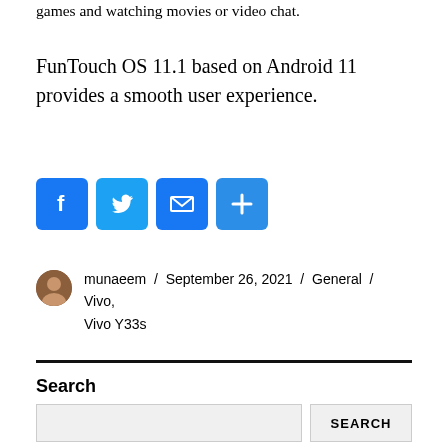games and watching movies or video chat.
FunTouch OS 11.1 based on Android 11 provides a smooth user experience.
[Figure (infographic): Social sharing icons: Facebook (blue F), Twitter (blue bird), Email (blue envelope), Share (blue plus)]
munaeem / September 26, 2021 / General / Vivo, Vivo Y33s
Search
[Figure (screenshot): Search input field with SEARCH button]